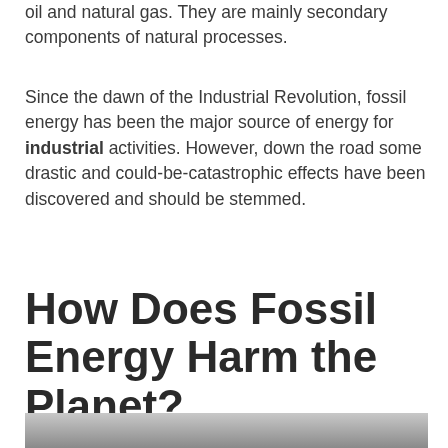oil and natural gas. They are mainly secondary components of natural processes.
Since the dawn of the Industrial Revolution, fossil energy has been the major source of energy for industrial activities. However, down the road some drastic and could-be-catastrophic effects have been discovered and should be stemmed.
How Does Fossil Energy Harm the Planet?
[Figure (photo): A grayscale photograph visible at the bottom of the page, partially cropped.]